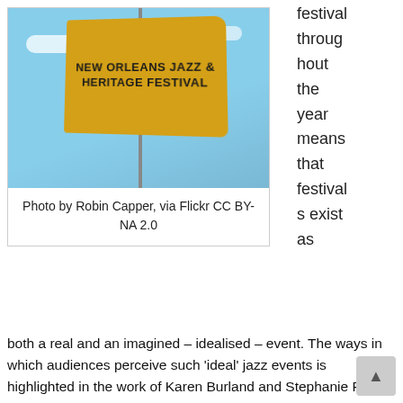[Figure (photo): Photo of a New Orleans Jazz & Heritage Festival banner/flag against a blue sky with clouds, mounted on a pole.]
Photo by Robin Capper, via Flickr CC BY-NA 2.0
festival throughout the year means that festivals exist as
both a real and an imagined – idealised – event. The ways in which audiences perceive such 'ideal' jazz events is highlighted in the work of Karen Burland and Stephanie Pitts on jazz festivals and jazz clubs, in which they conclude that audiences have in mind an 'ideal' jazz gig which they aim to replicate when deciding where and when they would decide to go; such ideals relate to instrumentation, the atmosphere and venue, the performers and the other audience members (2012: